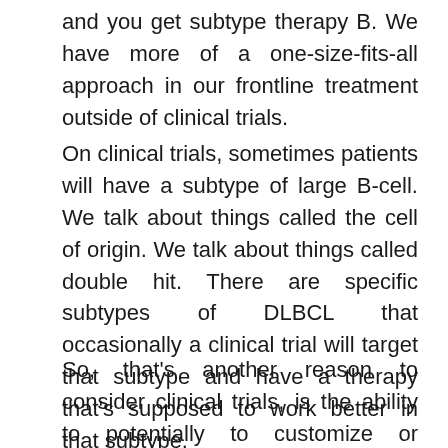and you get subtype therapy B. We have more of a one-size-fits-all approach in our frontline treatment outside of clinical trials.
On clinical trials, sometimes patients will have a subtype of large B-cell. We talk about things called the cell of origin. We talk about things called double hit. There are specific subtypes of DLBCL that occasionally a clinical trial will target that subtype and have a therapy that's supposed to work better in that subtype.
So, that's another reason to consider clinical trials, is the ability to potentially to customize or personalize your therapy to go more specifically after what's wrong with your